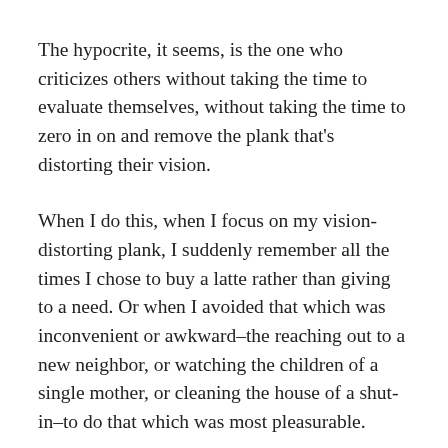The hypocrite, it seems, is the one who criticizes others without taking the time to evaluate themselves, without taking the time to zero in on and remove the plank that's distorting their vision.
When I do this, when I focus on my vision-distorting plank, I suddenly remember all the times I chose to buy a latte rather than giving to a need. Or when I avoided that which was inconvenient or awkward–the reaching out to a new neighbor, or watching the children of a single mother, or cleaning the house of a shut-in–to do that which was most pleasurable.
Each day, I make selfish, non-loving choices. Each day, I get caught up in my agenda, or my schedule, or even the 5,000 thoughts swirling through my popcorn-kernelling brain. Leaving those I love and want to love hurt in my